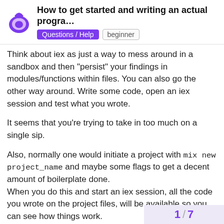How to get started and writing an actual progra... | Questions / Help | beginner
Think about iex as just a way to mess around in a sandbox and then “persist” your findings in modules/functions within files. You can also go the other way around. Write some code, open an iex session and test what you wrote.
It seems that you’re trying to take in too much on a single sip.
Also, normally one would initiate a project with mix new project_name and maybe some flags to get a decent amount of boilerplate done.
When you do this and start an iex session, all the code you wrote on the project files, will be available so you can see how things work.
Edit: Maybe take a look at this thread [3]. The videos are really interesting and it might help you with your application idea.
1 / 7